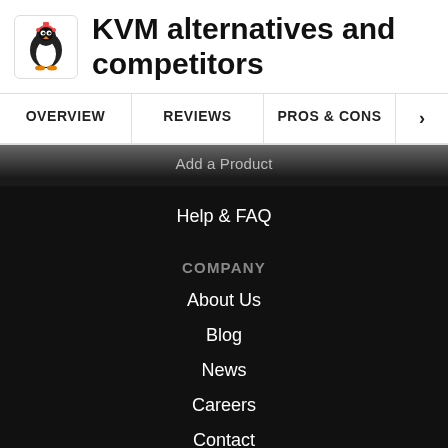KVM alternatives and competitors
OVERVIEW | REVIEWS | PROS & CONS | >
Add a Product
Help & FAQ
COMPANY
About Us
Blog
News
Careers
Contact